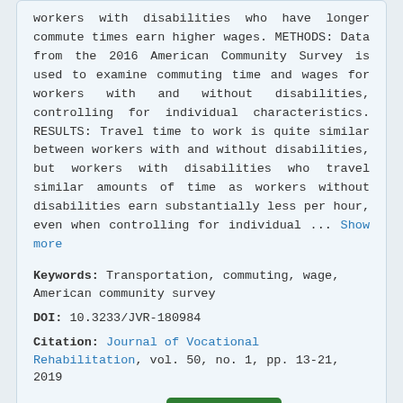workers with disabilities who have longer commute times earn higher wages. METHODS: Data from the 2016 American Community Survey is used to examine commuting time and wages for workers with and without disabilities, controlling for individual characteristics. RESULTS: Travel time to work is quite similar between workers with and without disabilities, but workers with disabilities who travel similar amounts of time as workers without disabilities earn substantially less per hour, even when controlling for individual ... Show more
Keywords: Transportation, commuting, wage, American community survey
DOI: 10.3233/JVR-180984
Citation: Journal of Vocational Rehabilitation, vol. 50, no. 1, pp. 13-21, 2019
Price: EUR 27.50  Add to cart
Customized employment discovery fidelity: Developing consensus